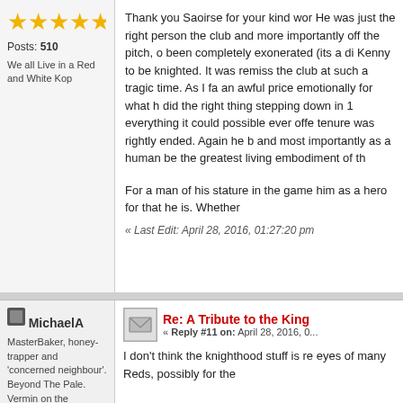[Figure (other): Five gold star rating icons]
Posts: 510
We all Live in a Red and White Kop
Thank you Saoirse for your kind wor... He was just the right person the club... and more importantly off the pitch, o... been completely exonerated (its a di... Kenny to be knighted. It was remiss... the club at such a tragic time. As I fa... an awful price emotionally for what h... did the right thing stepping down in 1... everything it could possible ever offe... tenure was rightly ended. Again he b... and most importantly as a human be... the greatest living embodiment of th...
For a man of his stature in the game... him as a hero for that he is. Whether...
« Last Edit: April 28, 2016, 01:27:20 pm
[Figure (other): Small avatar icon for MichaelA]
MichaelA
MasterBaker, honey-trapper and 'concerned neighbour'. Beyond The Pale. Vermin on the ridiculous. Would love to leave Ashley Cole gasping for air. Dupe Snoop
[Figure (other): Reply icon envelope]
Re: A Tribute to the King
« Reply #11 on: April 28, 2016, 0...
I don't think the knighthood stuff is re... eyes of many Reds, possibly for the...